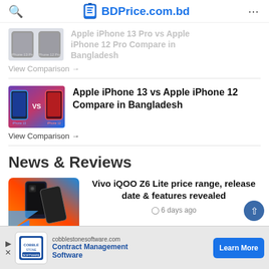BDPrice.com.bd
[Figure (screenshot): Partial card showing iPhone 13 Pro vs iPhone 12 Pro Compare in Bangladesh comparison image (faded/cut off at top)]
Apple iPhone 13 Pro vs Apple iPhone 12 Pro Compare in Bangladesh (partial, faded)
View Comparison →
[Figure (photo): Apple iPhone 13 vs iPhone 12 comparison image showing multiple colorful phones with VS text]
Apple iPhone 13 vs Apple iPhone 12 Compare in Bangladesh
View Comparison →
News & Reviews
[Figure (photo): Vivo iQOO Z6 Lite promotional image showing the phone with orange and blue gradient background]
Vivo iQOO Z6 Lite price range, release date & features revealed
⊙ 6 days ago
[Figure (screenshot): Partial image of Samsung Galaxy F13 article card (cut off at bottom)]
Samsung Galaxy F13 (partial, cut off)
[Figure (screenshot): Advertisement banner for cobblestone software showing contract management software ad with Learn More button]